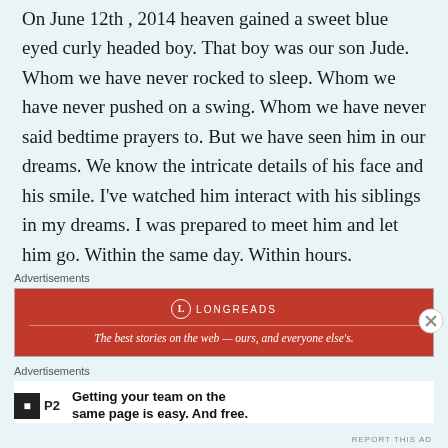On June 12th , 2014 heaven gained a sweet blue eyed curly headed boy. That boy was our son Jude. Whom we have never rocked to sleep. Whom we have never pushed on a swing. Whom we have never said bedtime prayers to. But we have seen him in our dreams. We know the intricate details of his face and his smile. I've watched him interact with his siblings in my dreams. I was prepared to meet him and let him go. Within the same day. Within hours.
[Figure (other): Longreads advertisement banner in red: 'The best stories on the web — ours, and everyone else's.' with Longreads logo.]
[Figure (other): P2 advertisement: 'Getting your team on the same page is easy. And free.' with P2 logo.]